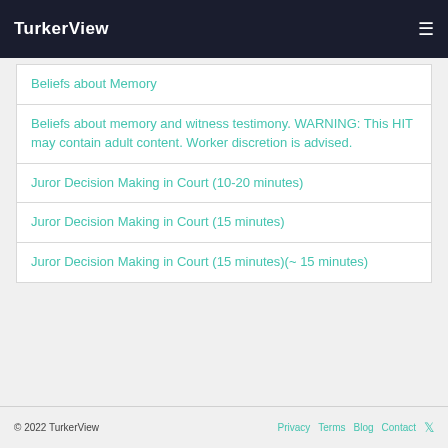TurkerView
Beliefs about Memory
Beliefs about memory and witness testimony. WARNING: This HIT may contain adult content. Worker discretion is advised.
Juror Decision Making in Court (10-20 minutes)
Juror Decision Making in Court (15 minutes)
Juror Decision Making in Court (15 minutes)(~ 15 minutes)
© 2022 TurkerView   Privacy   Terms   Blog   Contact